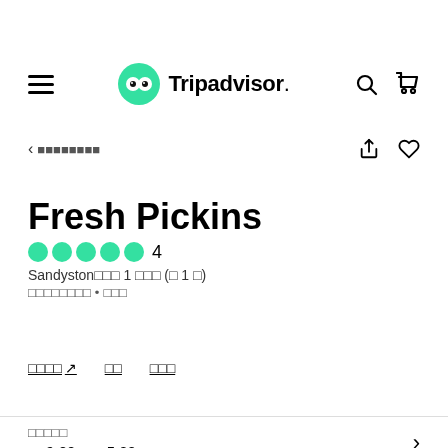[Figure (logo): Tripadvisor logo with green owl icon and hamburger menu, search and cart icons]
< ββββββββ
Fresh Pickins
●●●●● 4
Sandystonβββ 1 βββ (β 1 β)
βββββββββ • βββ
ββββ ↗  ββ  βββ
βββββ
ββ9:00 - ββ5:00